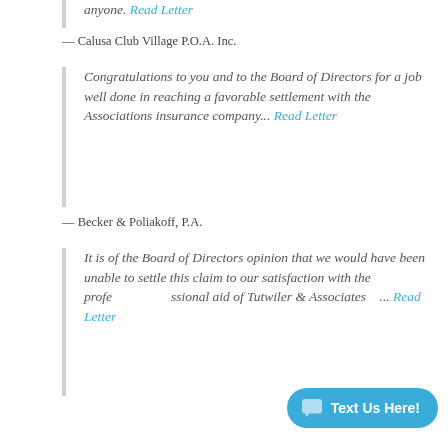anyone. Read Letter
— Calusa Club Village P.O.A. Inc.
Congratulations to you and to the Board of Directors for a job well done in reaching a favorable settlement with the Associations insurance company... Read Letter
— Becker & Poliakoff, P.A.
It is of the Board of Directors opinion that we would have been unable to settle this claim to our satisfaction with the professional aid of Tutwiler & Associates... Read Letter